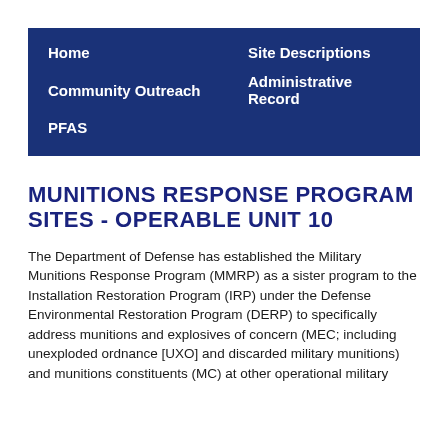[Figure (screenshot): Navigation menu with dark blue background containing: Home, Site Descriptions, Community Outreach, Administrative Record, PFAS]
MUNITIONS RESPONSE PROGRAM SITES - OPERABLE UNIT 10
The Department of Defense has established the Military Munitions Response Program (MMRP) as a sister program to the Installation Restoration Program (IRP) under the Defense Environmental Restoration Program (DERP) to specifically address munitions and explosives of concern (MEC; including unexploded ordnance [UXO] and discarded military munitions) and munitions constituents (MC) at other operational military